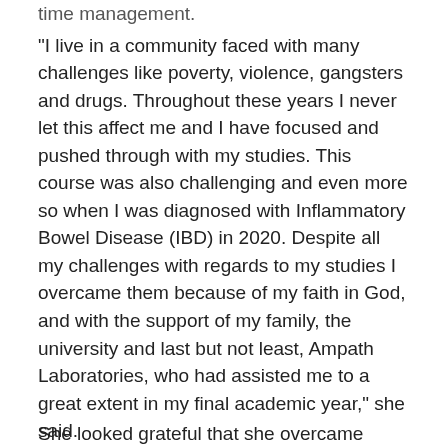time management.
"I live in a community faced with many challenges like poverty, violence, gangsters and drugs. Throughout these years I never let this affect me and I have focused and pushed through with my studies. This course was also challenging and even more so when I was diagnosed with Inflammatory Bowel Disease (IBD) in 2020. Despite all my challenges with regards to my studies I overcame them because of my faith in God, and with the support of my family, the university and last but not least, Ampath Laboratories, who had assisted me to a great extent in my final academic year," she said.
She looked grateful that she overcame...